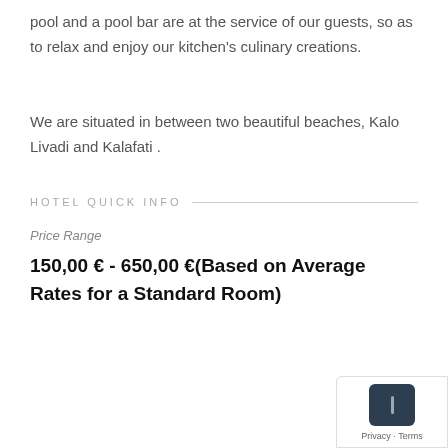pool and a pool bar are at the service of our guests, so as to relax and enjoy our kitchen's culinary creations.
We are situated in between two beautiful beaches, Kalo Livadi and Kalafati .
HOTEL QUICK INFO
Price Range
150,00 € - 650,00 €(Based on Average Rates for a Standard Room)